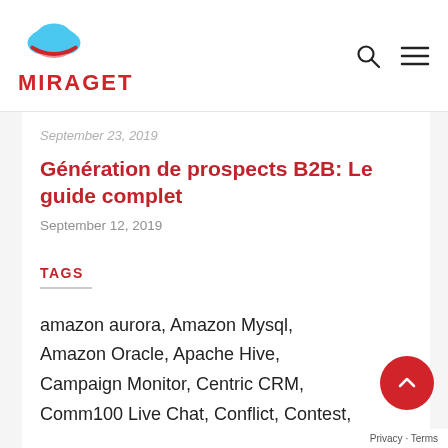[Figure (logo): Miraget logo: cloud graphic with blue and red colors, and MIRAGET text in bold red below]
September 23, 2019
Génération de prospects B2B: Le guide complet
September 12, 2019
TAGS
amazon aurora, Amazon Mysql, Amazon Oracle, Apache Hive, Campaign Monitor, Centric CRM, Comm100 Live Chat, Conflict, Contest,